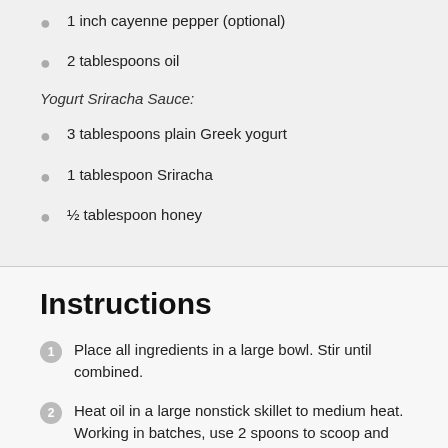1 inch cayenne pepper (optional)
2 tablespoons oil
Yogurt Sriracha Sauce:
3 tablespoons plain Greek yogurt
1 tablespoon Sriracha
½ tablespoon honey
Instructions
Place all ingredients in a large bowl. Stir until combined.
Heat oil in a large nonstick skillet to medium heat. Working in batches, use 2 spoons to scoop and push dollops of the sweet potato mixture into the hot oil, spacing them at least 1 inch apart. Use the back the spoon to slightly flatten each fritter. Cook 2-3